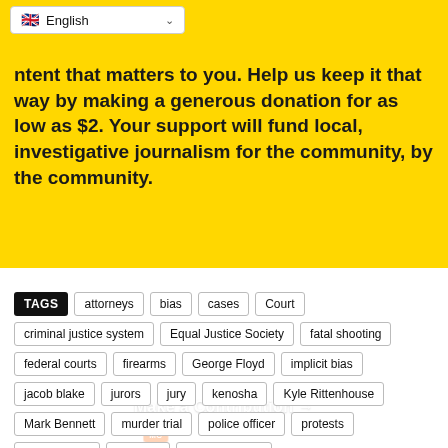[Figure (screenshot): Language selector dropdown showing UK flag and 'English' text with dropdown arrow]
ntent that matters to you. Help us keep it that way by making a generous donation for as low as $2. Your support will fund local, investigative journalism for the community, by the community.
[Figure (infographic): Make a Contribution button with arrow, and payment icons (VISA, Mastercard, etc.) on yellow background]
TAGS  attorneys  bias  cases  Court
criminal justice system  Equal Justice Society  fatal shooting
federal courts  firearms  George Floyd  implicit bias
jacob blake  jurors  jury  kenosha  Kyle Rittenhouse
Mark Bennett  murder trial  police officer  protests
racial justice  violence  white privilege